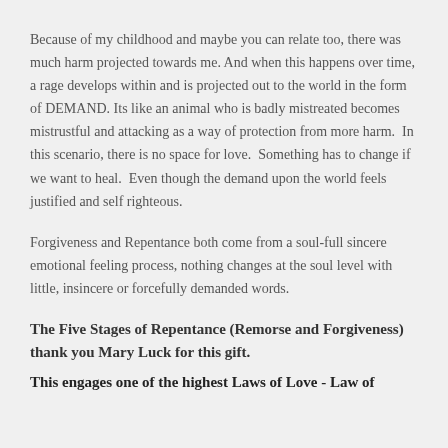Because of my childhood and maybe you can relate too, there was much harm projected towards me. And when this happens over time, a rage develops within and is projected out to the world in the form of DEMAND. Its like an animal who is badly mistreated becomes mistrustful and attacking as a way of protection from more harm.  In this scenario, there is no space for love.  Something has to change if we want to heal.  Even though the demand upon the world feels justified and self righteous.
Forgiveness and Repentance both come from a soul-full sincere emotional feeling process, nothing changes at the soul level with little, insincere or forcefully demanded words.
The Five Stages of Repentance (Remorse and Forgiveness) thank you Mary Luck for this gift.
This engages one of the highest Laws of Love - Law of